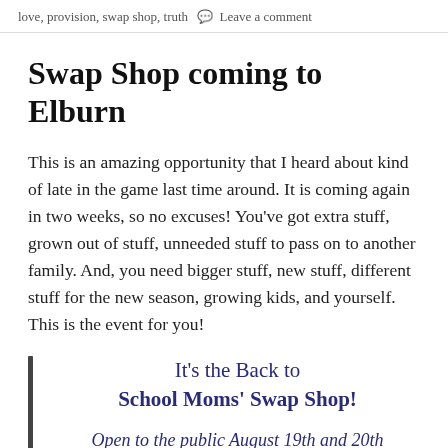love, provision, swap shop, truth  💬 Leave a comment
Swap Shop coming to Elburn
This is an amazing opportunity that I heard about kind of late in the game last time around. It is coming again in two weeks, so no excuses! You've got extra stuff, grown out of stuff, unneeded stuff to pass on to another family. And, you need bigger stuff, new stuff, different stuff for the new season, growing kids, and yourself. This is the event for you!
It's the Back to School Moms' Swap Shop!
Open to the public August 19th and 20th